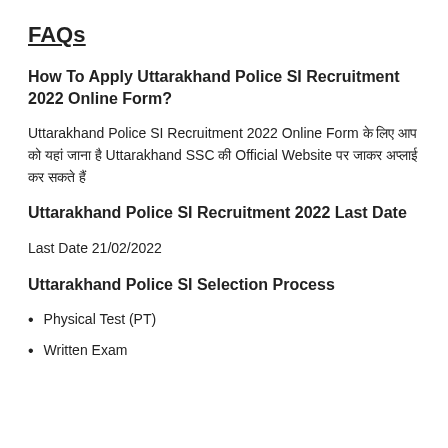FAQs
How To Apply Uttarakhand Police SI Recruitment 2022 Online Form?
Uttarakhand Police SI Recruitment 2022 Online Form के लिए आप को यहां जाना है  Uttarakhand SSC की Official Website पर जाकर अप्लाई कर सकते हैं
Uttarakhand Police SI Recruitment 2022 Last Date
Last Date 21/02/2022
Uttarakhand Police SI Selection Process
Physical Test (PT)
Written Exam